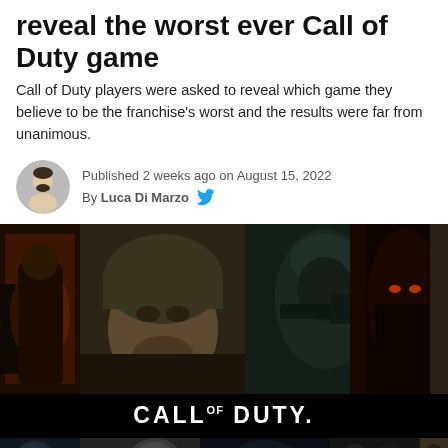reveal the worst ever Call of Duty game
Call of Duty players were asked to reveal which game they believe to be the franchise's worst and the results were far from unanimous.
Published 2 weeks ago on August 15, 2022
By Luca Di Marzo
[Figure (photo): Mosaic of Call of Duty game cover art images showing soldiers and characters from various entries in the franchise, with a black bar in the center displaying the CALL OF DUTY logo in white text, and additional game cover images below.]